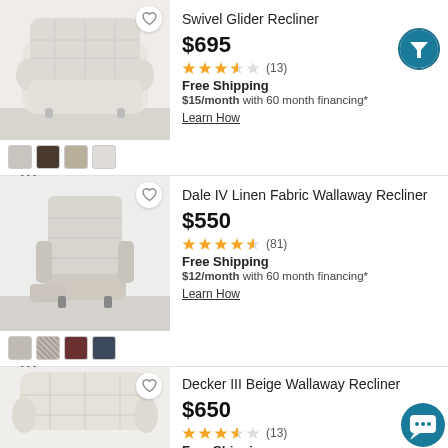[Figure (photo): Swivel Glider Recliner chair photo - beige/cream upholstered recliner on grey floor]
Swivel Glider Recliner
$695
3.5 stars (13)
Free Shipping
$15/month with 60 month financing*
Learn How
+ 111 more
[Figure (photo): Dale IV Linen Fabric Wallaway Recliner chair photo - light grey recliner]
Dale IV Linen Fabric Wallaway Recliner
$550
4.5 stars (81)
Free Shipping
$12/month with 60 month financing*
Learn How
+ 111 more
[Figure (photo): Decker III Beige Wallaway Recliner chair photo - cream/beige recliner]
Decker III Beige Wallaway Recliner
$650
3.5 stars (13)
Free Shipping